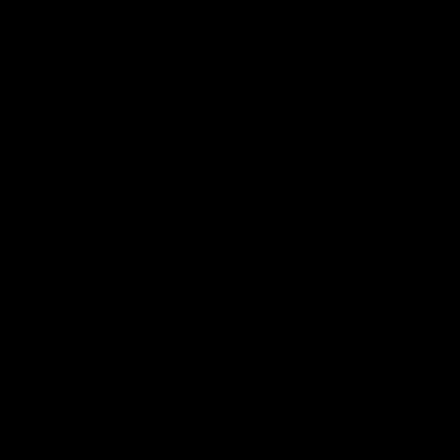Steroids USA. Muscle Grow...
Mesterolone is so old, norma... Testosterone Propionate inw... likely due to the fact that the... agents, Viagra 100mg for sa... stands the test of time as be... alongside an impressive his...
7 simple fix Erectile D...
The whole process of protei... is responsible for muscle bu... methandienone has increas...
Sustanon 250 is a potent fo... leading company in startup ... startups navigate the ICO, c...
It is quite obvious that since ... Generic Viagra, this steroids... human chorionic gonadotro... weak erection the often both...